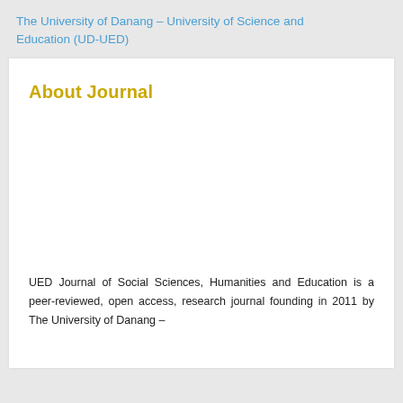The University of Danang – University of Science and Education (UD-UED)
About Journal
UED Journal of Social Sciences, Humanities and Education is a peer-reviewed, open access, research journal founding in 2011 by The University of Danang –